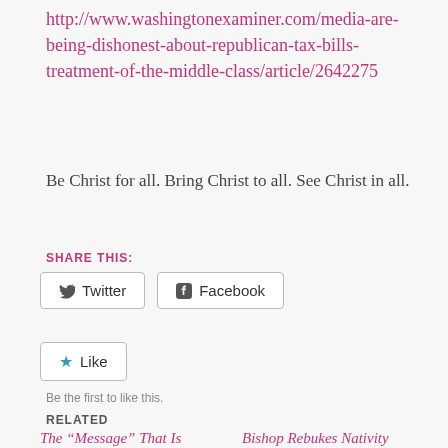http://www.washingtonexaminer.com/media-are-being-dishonest-about-republican-tax-bills-treatment-of-the-middle-class/article/2642275
Be Christ for all. Bring Christ to all. See Christ in all.
SHARE THIS:
Twitter  Facebook
Like
Be the first to like this.
RELATED
The “Message” That Is Cardinal-Elect McElroy
Bishop Rebukes Nativity School